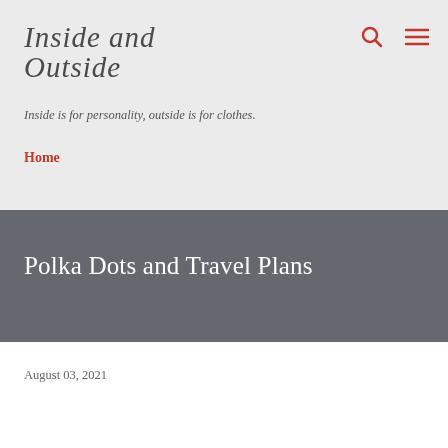INSIDE AND OUTSIDE
Inside is for personality, outside is for clothes.
Home
Polka Dots and Travel Plans
August 03, 2021